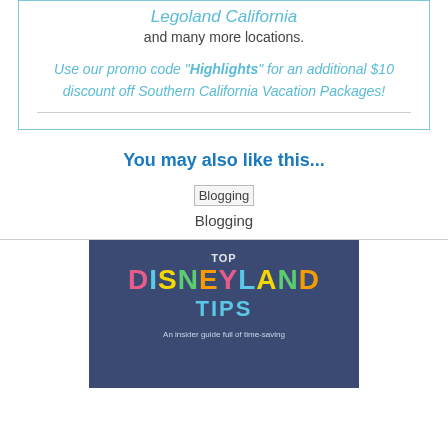Legoland California and many more locations.
Use our promo code "Highlights" for an additional $10 discount off Southern California Vacation Packages!
You may also like this...
[Figure (illustration): Broken image placeholder with label 'Blogging']
Blogging
[Figure (photo): Book cover image: colorful letters spelling DISNEYLAND TIPS on dark navy background with subtitle 'An insider guide full of time-saving']